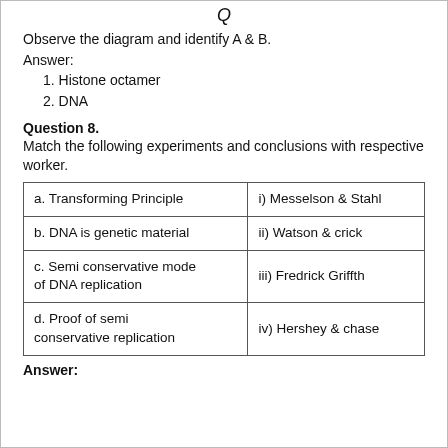Q
Observe the diagram and identify A & B.
Answer:
1. Histone octamer
2. DNA
Question 8.
Match the following experiments and conclusions with respective worker.
|  |  |
| --- | --- |
| a. Transforming Principle | i) Messelson & Stahl |
| b. DNA is genetic material | ii) Watson & crick |
| c. Semi conservative mode of DNA replication | iii) Fredrick Griffth |
| d. Proof of semi conservative replication | iv) Hershey & chase |
Answer: